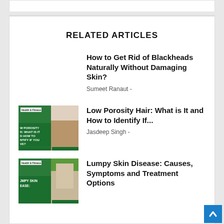RELATED ARTICLES
How to Get Rid of Blackheads Naturally Without Damaging Skin?
Sumeet Ranaut -
[Figure (photo): Thumbnail image for Low Porosity Hair article with green background and curly hair photo]
Low Porosity Hair: What is It and How to Identify If...
Jasdeep Singh -
[Figure (photo): Thumbnail image for Lumpy Skin Disease article with green background and horse photo]
Lumpy Skin Disease: Causes, Symptoms and Treatment Options